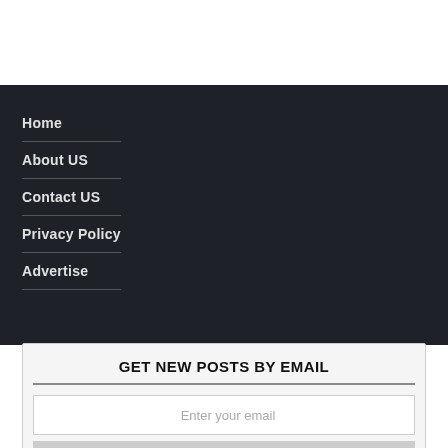Home
About US
Contact US
Privacy Policy
Advertise
GET NEW POSTS BY EMAIL
Enter your email